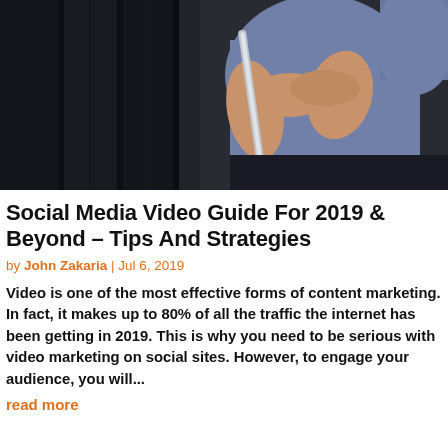[Figure (photo): A woman in a blue blouse holding a tablet or thin device, standing against a dark background. Only her torso and hands are visible.]
Social Media Video Guide For 2019 & Beyond – Tips And Strategies
by John Zakaria | Jul 6, 2019
Video is one of the most effective forms of content marketing. In fact, it makes up to 80% of all the traffic the internet has been getting in 2019. This is why you need to be serious with video marketing on social sites. However, to engage your audience, you will...
read more